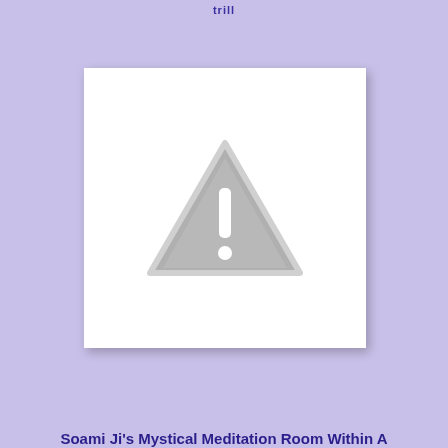trill
[Figure (illustration): A placeholder image with a white background showing a grey warning triangle with an exclamation mark icon in the center.]
Soami Ji's Mystical Meditation Room Within A